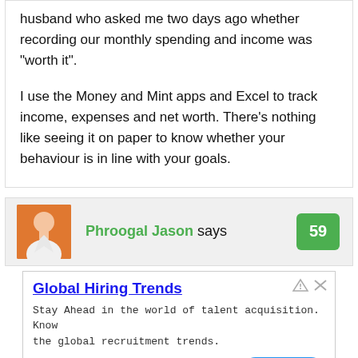husband who asked me two days ago whether recording our monthly spending and income was “worth it”.

I use the Money and Mint apps and Excel to track income, expenses and net worth. There’s nothing like seeing it on paper to know whether your behaviour is in line with your goals.
Phroogal Jason says
[Figure (photo): Avatar photo of Phroogal Jason, a person in a white shirt against an orange background]
59
[Figure (screenshot): Advertisement for Global Hiring Trends by RChilli Inc. Text: Stay Ahead in the world of talent acquisition. Know the global recruitment trends. Open button.]